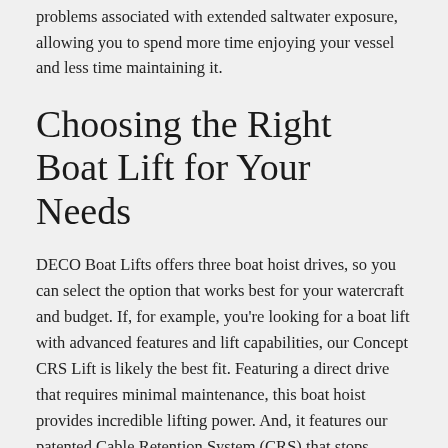problems associated with extended saltwater exposure, allowing you to spend more time enjoying your vessel and less time maintaining it.
Choosing the Right Boat Lift for Your Needs
DECO Boat Lifts offers three boat hoist drives, so you can select the option that works best for your watercraft and budget. If, for example, you're looking for a boat lift with advanced features and lift capabilities, our Concept CRS Lift is likely the best fit. Featuring a direct drive that requires minimal maintenance, this boat hoist provides incredible lifting power. And, it features our patented Cable Retention System (CRS) that stops cables from twisting and overlapping.
Our signature boat lift—the DECO Lift—is also a popular option thanks to its best-in-class standard features. For example,